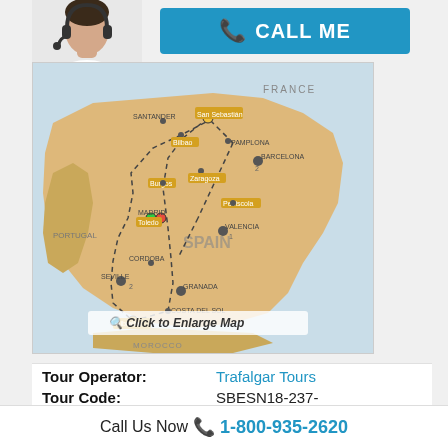[Figure (other): Person (operator) image, partially visible at top left]
[Figure (other): Blue CALL ME button with phone icon]
[Figure (map): Map of Spain showing a tour route with labeled cities including San Sebastian, Bilbao, Pamplona, Barcelona, Zaragoza, Valencia, Granada, Costa del Sol, Seville, Toledo, Madrid, and others. Cities connected by a dashed route line. Also shows Portugal, France, Morocco borders. Overlaid text: Click to Enlarge Map]
Tour Operator:   Trafalgar Tours
Tour Code:   SBESN18-237-
Call Us Now 1-800-935-2620